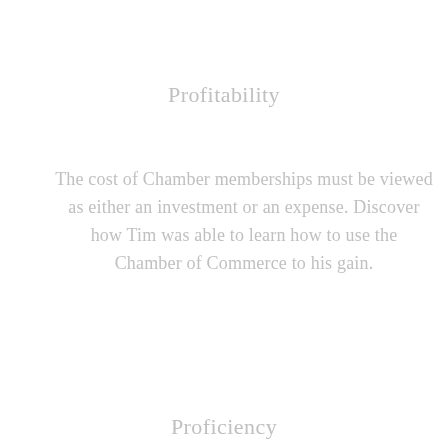Profitability
The cost of Chamber memberships must be viewed as either an investment or an expense. Discover how Tim was able to learn how to use the Chamber of Commerce to his gain.
Proficiency